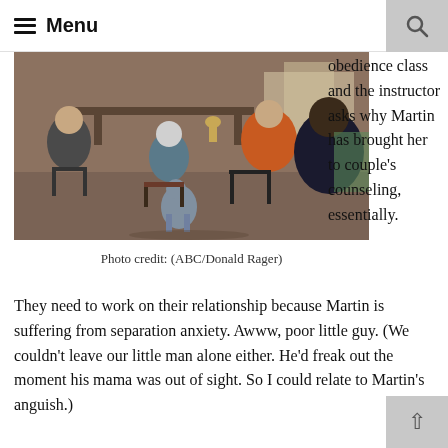≡ Menu
[Figure (photo): Dog obedience class scene with people seated in chairs and dogs in an indoor space. A dog stands on a chair in the background while another dog sits near a person in the foreground.]
Photo credit: (ABC/Donald Rager)
obedience class and the instructor asks why Martin has brought her to couple's counseling, essentially.
They need to work on their relationship because Martin is suffering from separation anxiety. Awww, poor little guy. (We couldn't leave our little man alone either. He'd freak out the moment his mama was out of sight. So I could relate to Martin's anguish.)